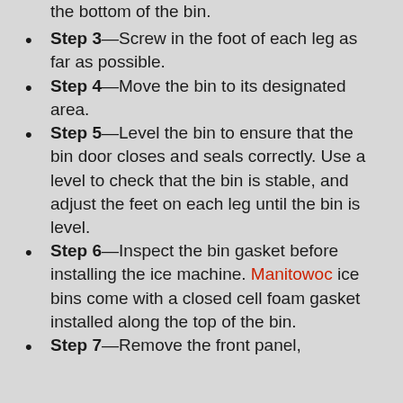the bottom of the bin.
Step 3—Screw in the foot of each leg as far as possible.
Step 4—Move the bin to its designated area.
Step 5—Level the bin to ensure that the bin door closes and seals correctly. Use a level to check that the bin is stable, and adjust the feet on each leg until the bin is level.
Step 6—Inspect the bin gasket before installing the ice machine. Manitowoc ice bins come with a closed cell foam gasket installed along the top of the bin.
Step 7—Remove the front panel,